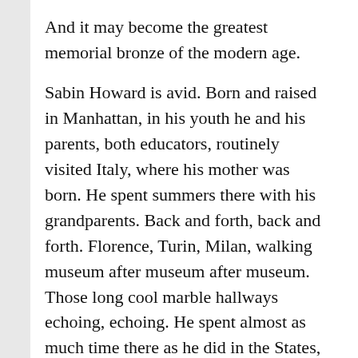And it may become the greatest memorial bronze of the modern age.
Sabin Howard is avid. Born and raised in Manhattan, in his youth he and his parents, both educators, routinely visited Italy, where his mother was born. He spent summers there with his grandparents. Back and forth, back and forth. Florence, Turin, Milan, walking museum after museum after museum. Those long cool marble hallways echoing, echoing. He spent almost as much time there as he did in the States, almost as much time in the 15th century as in the 20th. Very early, in his teens, immersed in the art of the Renaissance,